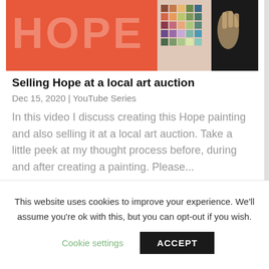[Figure (photo): Partial image showing the word HOPE on an orange background with a colorful grid/color chart and a person's hand visible on the right side against a dark background]
Selling Hope at a local art auction
Dec 15, 2020 | YouTube Series
In this video I discuss creating this Hope painting and also selling it at a local art auction. Take a little peek at my thought process before, during and after creating a painting. Please...
This website uses cookies to improve your experience. We'll assume you're ok with this, but you can opt-out if you wish.
Cookie settings
ACCEPT